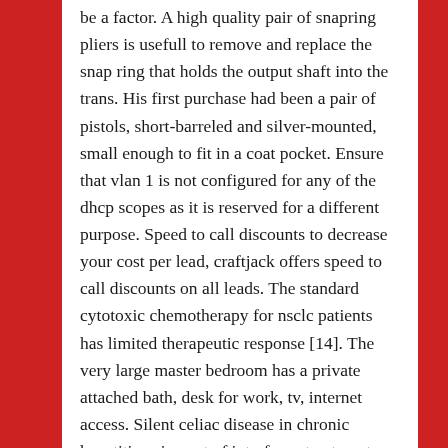be a factor. A high quality pair of snapring pliers is usefull to remove and replace the snap ring that holds the output shaft into the trans. His first purchase had been a pair of pistols, short-barreled and silver-mounted, small enough to fit in a coat pocket. Ensure that vlan 1 is not configured for any of the dhcp scopes as it is reserved for a different purpose. Speed to call discounts to decrease your cost per lead, craftjack offers speed to call discounts on all leads. The standard cytotoxic chemotherapy for nsclc patients has limited therapeutic response [14]. The very large master bedroom has a private attached bath, desk for work, tv, internet access. Silent celiac disease in chronic hepatitis c: impact of interferon treatment on the disease onset and clinical outcome. Why did our current vice president and our former president make a recent trip to saudi arabia? As a result, it is expected that the children will be more aware and they may use the child helpline or pocso e-box, in case of any distress. She is working on a